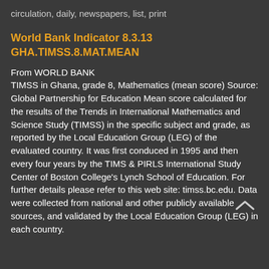circulation, daily, newspapers, list, print
World Bank Indicator 8.3.13 GHA.TIMSS.8.MAT.MEAN
From WORLD BANK
TIMSS in Ghana, grade 8, Mathematics (mean score) Source: Global Partnership for Education Mean score calculated for the results of the Trends in International Mathematics and Science Study (TIMSS) in the specific subject and grade, as reported by the Local Education Group (LEG) of the evaluated country. It was first conduced in 1995 and then every four years by the TIMS & PIRLS International Study Center of Boston College's Lynch School of Education. For further details please refer to this web site: timss.bc.edu. Data were collected from national and other publicly available sources, and validated by the Local Education Group (LEG) in each country.